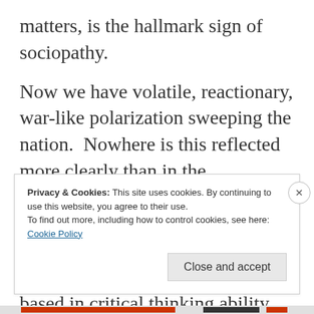matters, is the hallmark sign of sociopathy.
Now we have volatile, reactionary, war-like polarization sweeping the nation.  Nowhere is this reflected more clearly than in the fragmentation and division we see by way of social media. Brute expression and behavior is lauded rather than reasoned arguments based in critical thinking ability. The mental health
Privacy & Cookies: This site uses cookies. By continuing to use this website, you agree to their use.
To find out more, including how to control cookies, see here:
Cookie Policy
Close and accept